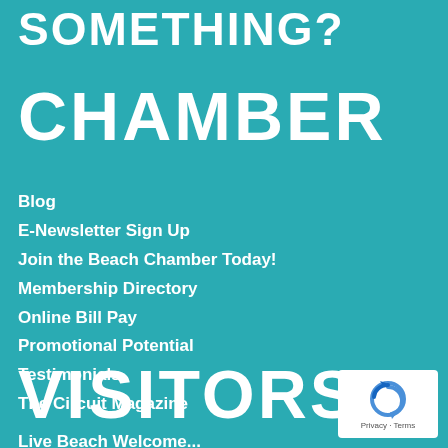SOMETHING?
CHAMBER
Blog
E-Newsletter Sign Up
Join the Beach Chamber Today!
Membership Directory
Online Bill Pay
Promotional Potential
Testimonials
The Circuit Magazine
VISITORS
Live Beach Welcome...
[Figure (logo): reCAPTCHA badge with circular arrow logo and Privacy - Terms text]